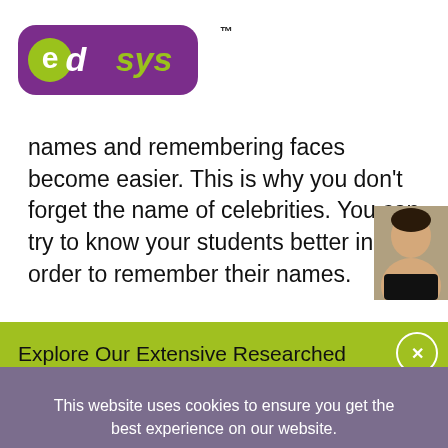[Figure (logo): Edsys logo — purple rounded rectangle with white 'ed' and green 'sys' text, with TM superscript]
names and remembering faces become easier. This is why you don't forget the name of celebrities. You can try to know your students better in order to remember their names.
Explore Our Extensive Researched Educational App Directory
This website uses cookies to ensure you get the best experience on our website.
Accept Cookies
Decline